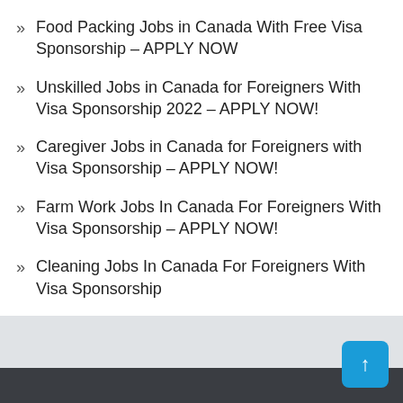Food Packing Jobs in Canada With Free Visa Sponsorship – APPLY NOW
Unskilled Jobs in Canada for Foreigners With Visa Sponsorship 2022 – APPLY NOW!
Caregiver Jobs in Canada for Foreigners with Visa Sponsorship – APPLY NOW!
Farm Work Jobs In Canada For Foreigners With Visa Sponsorship – APPLY NOW!
Cleaning Jobs In Canada For Foreigners With Visa Sponsorship